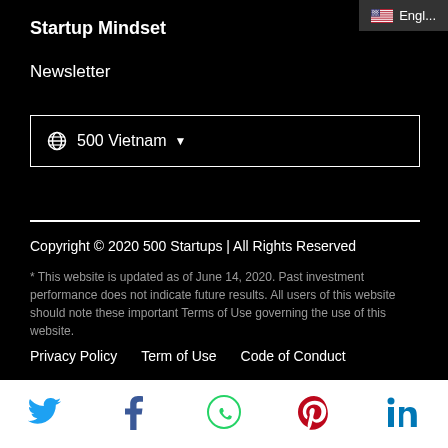Startup Mindset
Engl...
Newsletter
⊕ 500 Vietnam ▼
Copyright © 2020 500 Startups | All Rights Reserved
* This website is updated as of June 14, 2020. Past investment performance does not indicate future results. All users of this website should note these important Terms of Use governing the use of this website.
Privacy Policy   Term of Use   Code of Conduct
[Figure (infographic): Social media share icons row: Twitter (blue bird), Facebook (dark blue f), WhatsApp (green phone), Pinterest (red P), LinkedIn (blue in)]